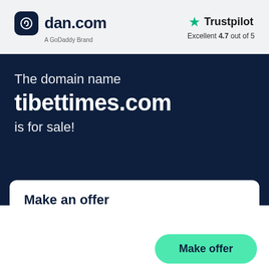[Figure (logo): dan.com logo with dark navy rounded square icon and text 'dan.com', subtitle 'A GoDaddy Brand']
[Figure (logo): Trustpilot logo with green star, text 'Trustpilot', rating 'Excellent 4.7 out of 5']
The domain name
tibettimes.com
is for sale!
Make an offer
Make offer